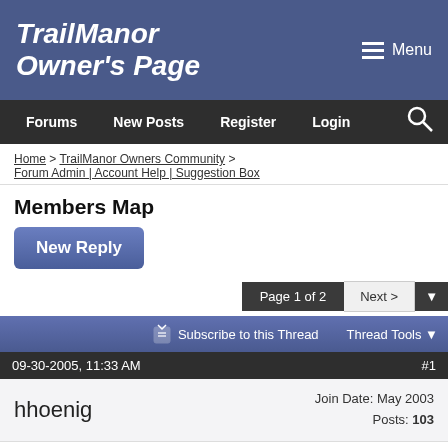TrailManor Owner's Page
Forums  New Posts  Register  Login
Home > TrailManor Owners Community > Forum Admin | Account Help | Suggestion Box
Members Map
New Reply
Page 1 of 2  Next >
Subscribe to this Thread  Thread Tools
09-30-2005, 11:33 AM  #1
hhoenig  Join Date: May 2003  Posts: 103
Members Map